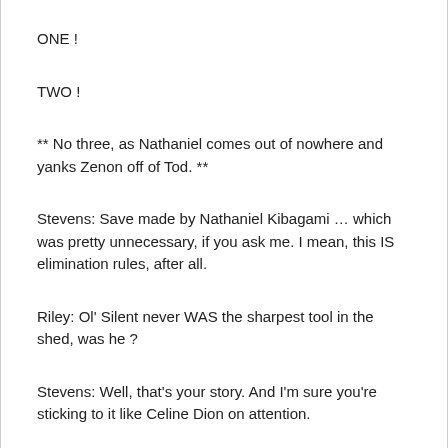ONE !
TWO !
** No three, as Nathaniel comes out of nowhere and yanks Zenon off of Tod. **
Stevens: Save made by Nathaniel Kibagami … which was pretty unnecessary, if you ask me. I mean, this IS elimination rules, after all.
Riley: Ol' Silent never WAS the sharpest tool in the shed, was he ?
Stevens: Well, that's your story. And I'm sure you're sticking to it like Celine Dion on attention.